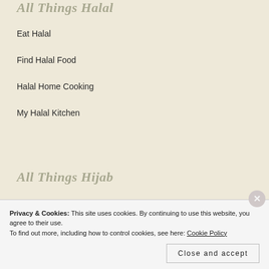All Things Halal
Eat Halal
Find Halal Food
Halal Home Cooking
My Halal Kitchen
All Things Hijab
East Essence $
Privacy & Cookies: This site uses cookies. By continuing to use this website, you agree to their use. To find out more, including how to control cookies, see here: Cookie Policy
Close and accept